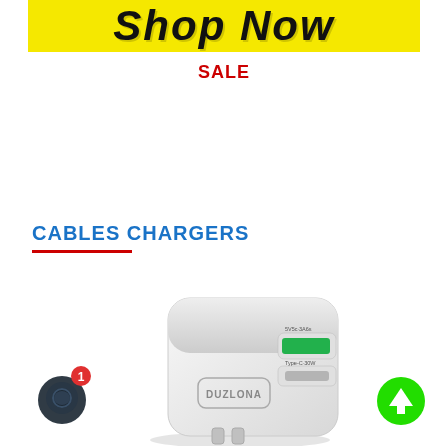[Figure (illustration): Yellow banner with bold black italic text reading 'Shop Now']
SALE
CABLES CHARGERS
[Figure (photo): White dual-port USB wall charger product photo with DUZLONA branding, featuring a USB-A (green port) and USB-C port]
[Figure (illustration): Dark circular chat bubble icon with red notification badge showing '1']
[Figure (illustration): Green circular scroll-up arrow button]